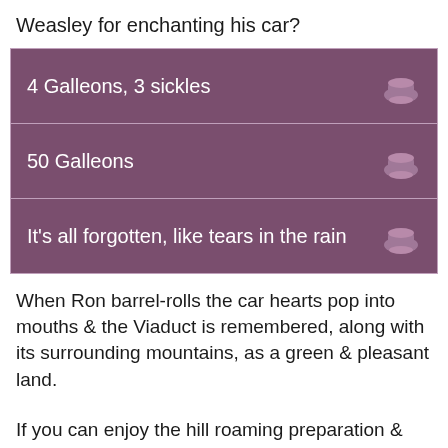Weasley for enchanting his car?
4 Galleons, 3 sickles
50 Galleons
It's all forgotten, like tears in the rain
When Ron barrel-rolls the car hearts pop into mouths & the Viaduct is remembered, along with its surrounding mountains, as a green & pleasant land.
If you can enjoy the hill roaming preparation & anticipation of the Jacobite steam train coming, or